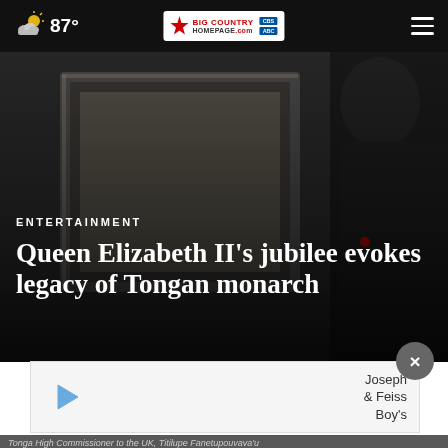87° Big Country Homepage CBS ABC
[Figure (photo): A person in a black sweater standing near a framed black-and-white photograph. The scene is dimly lit with dark, muted tones.]
ENTERTAINMENT
Queen Elizabeth II's jubilee evokes legacy of Tongan monarch
[Figure (other): Advertisement banner with play button icon and Joseph & Feiss Boy's text]
Tonga High Commissioner to the UK, Titilupe Fanetupouvava'u